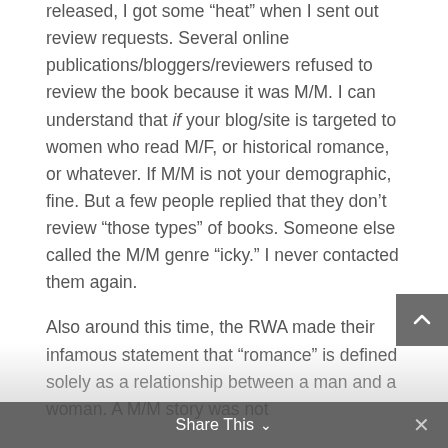released, I got some “heat” when I sent out review requests. Several online publications/bloggers/reviewers refused to review the book because it was M/M. I can understand that if your blog/site is targeted to women who read M/F, or historical romance, or whatever. If M/M is not your demographic, fine. But a few people replied that they don’t review “those types” of books. Someone else called the M/M genre “icky.” I never contacted them again.

Also around this time, the RWA made their infamous statement that “romance” is defined solely as a relationship between a man and a woman. A M/M story was not
Share This